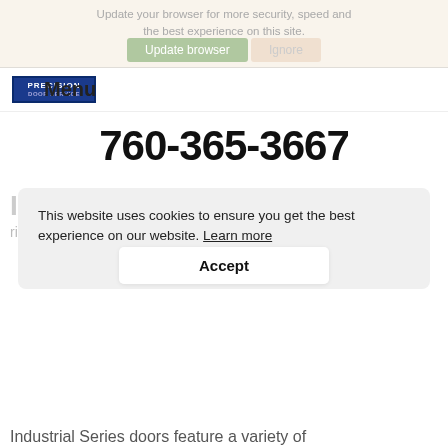Update your browser for more security, speed and the best experience on this site.
Menu
760-365-3667
This website uses cookies to ensure you get the best experience on our website. Learn more
INDUSTRIAL SERIES
ribbed steel doors
Accept
Industrial Series doors feature a variety of